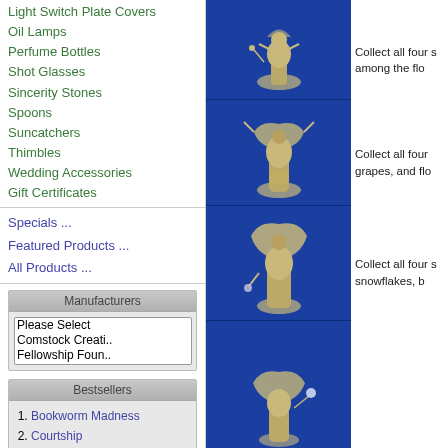Light Switch Plate Covers
Oil Lamps
Perfume Bottles
Shot Glasses
Sincerity Stones
Spoons
Suncatchers
Thimbles
Wedding Accessories
Gift Certificates
Specials ...
Featured Products ...
All Products ...
Manufacturers
Please Select
Comstock Creati..
Fellowship Foun..
Bestsellers
1. Bookworm Madness
2. Courtship
3. Mini Faerie Dragon
4. Frost Dragon
5. Baby Winged Dragon
6. Coffee Dragon
7. Skeleton Band
8. Blue Dragon with Scrolls
[Figure (photo): Four fairy/angel figurines displayed against blue satin background]
Collect all four s among the flo
Collect all four grapes, and flo
Collect all four s snowflakes, b